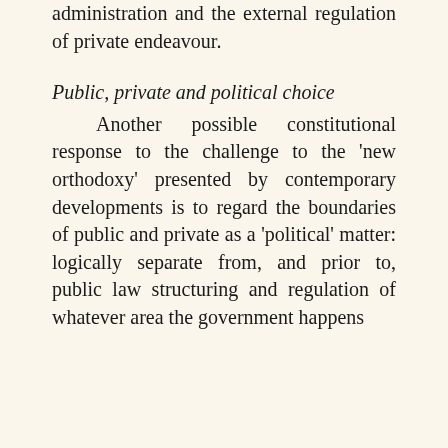administration and the external regulation of private endeavour.
Public, private and political choice
Another possible constitutional response to the challenge to the 'new orthodoxy' presented by contemporary developments is to regard the boundaries of public and private as a 'political' matter: logically separate from, and prior to, public law structuring and regulation of whatever area the government happens